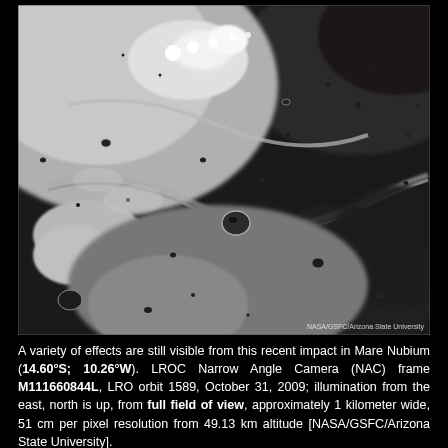[Figure (photo): Black and white lunar surface photograph showing Mare Nubium with impact effects, craters, and ridged terrain. NASA/GSFC/Arizona State University watermark visible in bottom-right corner. LROC Narrow Angle Camera image.]
A variety of effects are still visible from this recent impact in Mare Nubium (14.60°S; 10.26°W). LROC Narrow Angle Camera (NAC) frame M111660844L, LRO orbit 1589, October 31, 2009; illumination from the east, north is up, from full field of view, approximately 1 kilometer wide, 51 cm per pixel resolution from 49.13 km altitude [NASA/GSFC/Arizona State University].